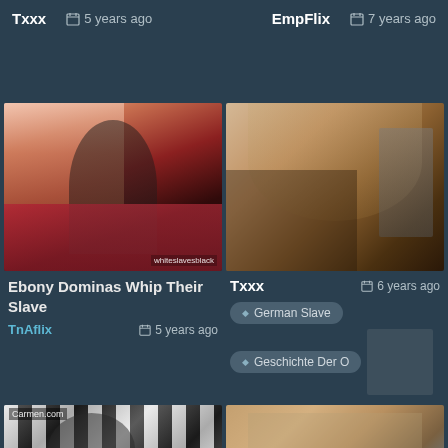Txxx  🗓 5 years ago    EmpFlix  🗓 7 years ago
[Figure (photo): Video thumbnail showing two women, one in purple lingerie, on a red couch. Watermark: whiteslavesblack]
[Figure (photo): Video thumbnail showing a woman in a dark outfit and a man in a suit in an ornate room]
Ebony Dominas Whip Their Slave
TnAflix  🗓 5 years ago
Txxx  🗓 6 years ago
German Slave
Geschichte Der O
[Figure (photo): Bottom left thumbnail showing black and white striped scene with figures, watermark: carmen.com]
[Figure (photo): Bottom right thumbnail showing outdoor scene with people]